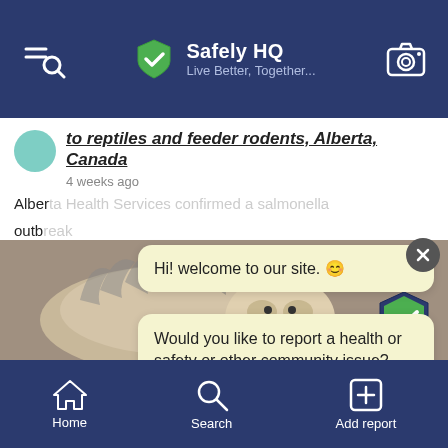Safely HQ — Live Better, Together...
to reptiles and feeder rodents, Alberta, Canada
4 weeks ago
Alberta... outb... linked to reptiles and feeder rodents. As of July 22, 2022... 5 AH... Calg...
#alb...
Hi! welcome to our site. 😊
Would you like to report a health or safety or other community issue?
Yes
Skip
[Figure (photo): Close-up photo of a small animal (rodent/hamster) from above, grey/brown background]
Home   Search   Add report